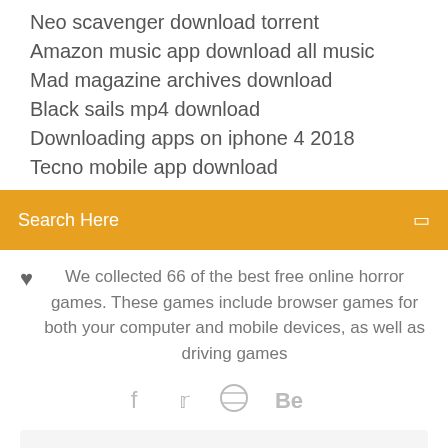Neo scavenger download torrent
Amazon music app download all music
Mad magazine archives download
Black sails mp4 download
Downloading apps on iphone 4 2018
Tecno mobile app download
Search Here
We collected 66 of the best free online horror games. These games include browser games for both your computer and mobile devices, as well as driving games
We collected 66 of the best free online horror games. These games include browser games for both your computer and mobile devices, as well as driving